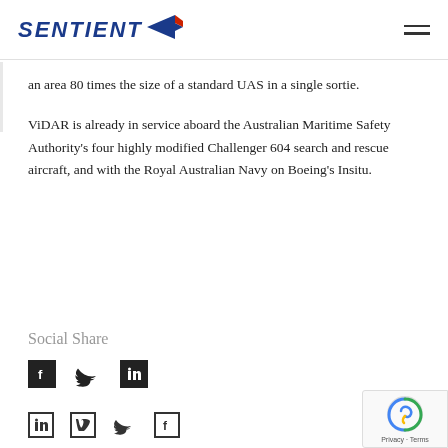SENTIENT [logo with arrow]
an area 80 times the size of a standard UAS in a single sortie.
ViDAR is already in service aboard the Australian Maritime Safety Authority’s four highly modified Challenger 604 search and rescue aircraft, and with the Royal Australian Navy on Boeing’s Insitu.
Social Share
[Figure (other): Social share icons: Facebook, Twitter, LinkedIn]
[Figure (other): Footer social icons: LinkedIn, Vimeo, Twitter, Facebook]
[Figure (other): reCAPTCHA badge with Privacy and Terms links]